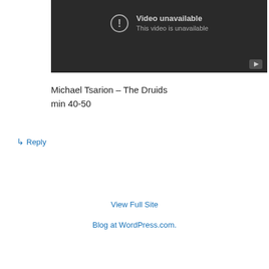[Figure (screenshot): Embedded YouTube video player showing 'Video unavailable / This video is unavailable' error message on dark background with YouTube logo button in bottom right corner.]
Michael Tsarion – The Druids
min 40-50
↳ Reply
View Full Site
Blog at WordPress.com.